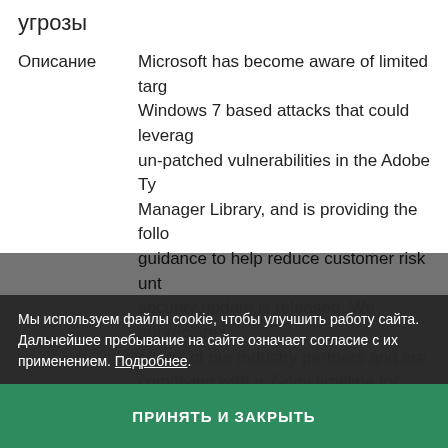угрозы
Описание
Microsoft has become aware of limited targeted Windows 7 based attacks that could leverage un-patched vulnerabilities in the Adobe Type Manager Library, and is providing the following guidance to help reduce customer risk until a security update is released. We appreciate the efforts of our industry partners and are complying with a 7-day timeline for disclosure of information regarding these limited attacks.

Two remote code execution vulnerabilities exist in Microsoft Windows when the Windows Adobe Type Manager Library improperly handles a specially-crafted multi-master font — the Adobe Type 1 PostScript format.

There are multiple ways an attacker could exploit the vulnerability, such as convincing a user to open a specially crafted document or
Мы используем файлы cookie, чтобы улучшить работу сайта. Дальнейшее пребывание на сайте означает согласие с их применением. Подробнее.
ПРИНЯТЬ И ЗАКРЫТЬ